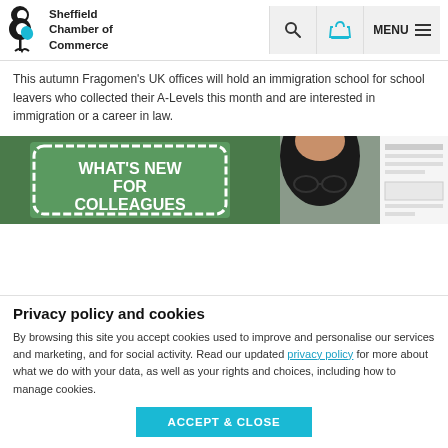Sheffield Chamber of Commerce — navigation header with search, basket, and menu icons
This autumn Fragomen's UK offices will hold an immigration school for school leavers who collected their A-Levels this month and are interested in immigration or a career in law.
[Figure (photo): A photograph showing a banner reading 'WHAT'S NEW FOR COLLEAGUES' with a person wearing a black hijab visible in the centre, and documents/papers visible on the right side.]
Privacy policy and cookies
By browsing this site you accept cookies used to improve and personalise our services and marketing, and for social activity. Read our updated privacy policy for more about what we do with your data, as well as your rights and choices, including how to manage cookies.
ACCEPT & CLOSE